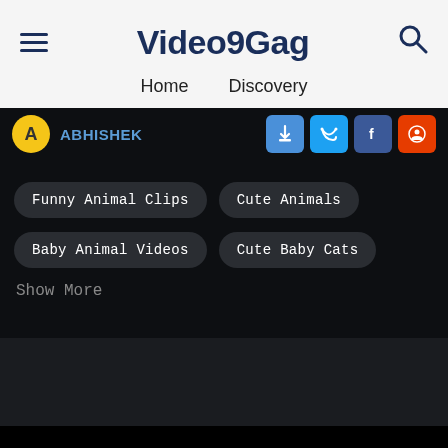Video9Gag — Home Discovery
Abhishek
Funny Animal Clips
Cute Animals
Baby Animal Videos
Cute Baby Cats
Show More